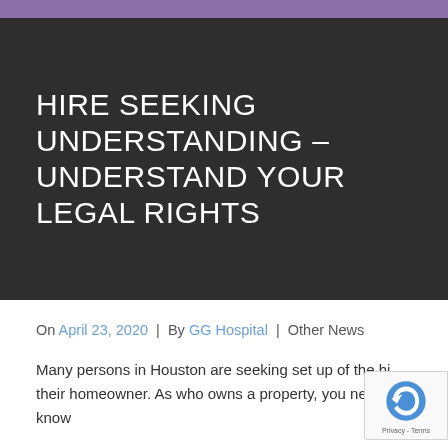HIRE SEEKING UNDERSTANDING – UNDERSTAND YOUR LEGAL RIGHTS
On April 23, 2020 | By GG Hospital | Other News
Many persons in Houston are seeking set up of the hi their homeowner. As who owns a property, you need to know